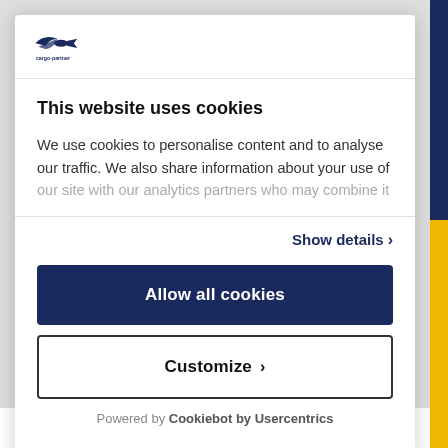[Figure (logo): cargo-partner logo with stylized bird/arrow icon in blue]
This website uses cookies
We use cookies to personalise content and to analyse our traffic. We also share information about your use of our site with our analytics partners who may combine it
Show details >
Allow all cookies
Customize >
Powered by Cookiebot by Usercentrics
Senior Business Intelligence   Bratislava